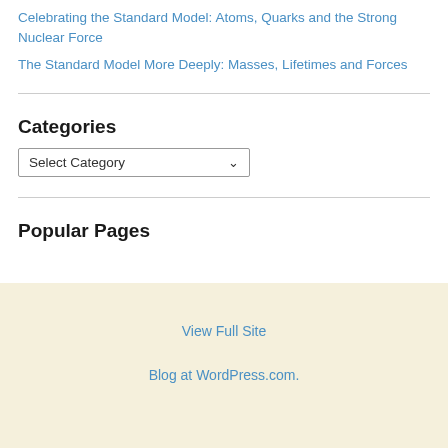Celebrating the Standard Model: Atoms, Quarks and the Strong Nuclear Force
The Standard Model More Deeply: Masses, Lifetimes and Forces
Categories
Select Category
Popular Pages
View Full Site
Blog at WordPress.com.